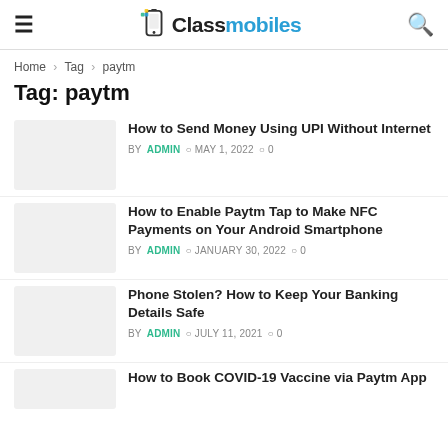≡  Classmobiles  🔍
Home > Tag > paytm
Tag: paytm
How to Send Money Using UPI Without Internet — BY ADMIN © MAY 1, 2022 💬 0
How to Enable Paytm Tap to Make NFC Payments on Your Android Smartphone — BY ADMIN © JANUARY 30, 2022 💬 0
Phone Stolen? How to Keep Your Banking Details Safe — BY ADMIN © JULY 11, 2021 💬 0
How to Book COVID-19 Vaccine via Paytm App